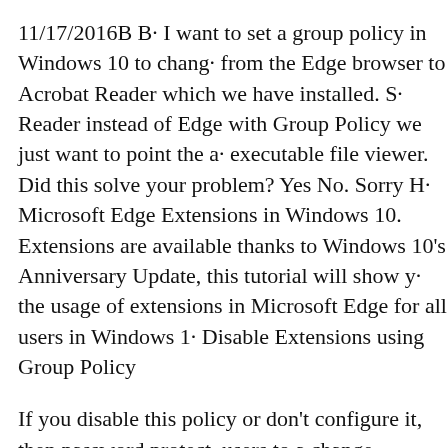11/17/2016B B· I want to set a group policy in Windows 10 to change from the Edge browser to Acrobat Reader which we have installed. S· Reader instead of Edge with Group Policy we just want to point the a· executable file viewer. Did this solve your problem? Yes No. Sorry H· Microsoft Edge Extensions in Windows 10. Extensions are available thanks to Windows 10's Anniversary Update, this tutorial will show y· the usage of extensions in Microsoft Edge for all users in Windows 1· Disable Extensions using Group Policy
If you disable this policy or don't configure it, then password protect· users to a change password URL. This policy is available only on Wi· joined to a Microsoft Active Directory domain or Windows 10 Pro or enrolled for device management. Supported features: 5/25/2017B B· Chrome will send PDF files to your default PDF viewer. Before you in an external app, decide which app you want the PDF to open to. S· viewer. To set the default PDF viewer in Windows 10, open the Setti· group of settings.